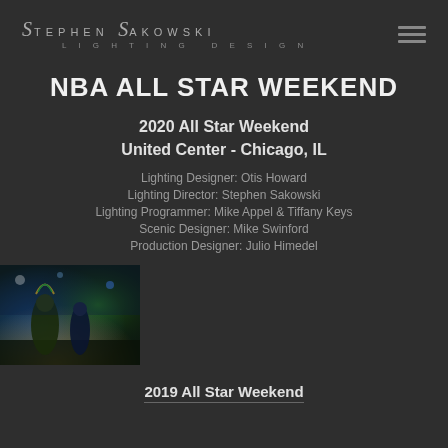Stephen Sakowski Lighting Design
NBA ALL STAR WEEKEND
2020 All Star Weekend
United Center - Chicago, IL
Lighting Designer: Otis Howard
Lighting Director: Stephen Sakowski
Lighting Programmer: Mike Appel & Tiffany Keys
Scenic Designer: Mike Swinford
Production Designer: Julio Himedel
[Figure (photo): Photo of performers on stage at NBA All Star Weekend, colorful stage lighting visible]
2019 All Star Weekend